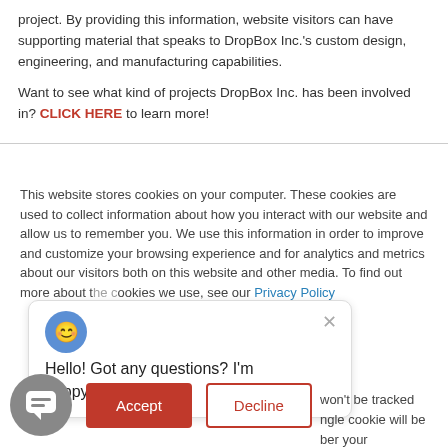project. By providing this information, website visitors can have supporting material that speaks to DropBox Inc.'s custom design, engineering, and manufacturing capabilities.
Want to see what kind of projects DropBox Inc. has been involved in? CLICK HERE to learn more!
This website stores cookies on your computer. These cookies are used to collect information about how you interact with our website and allow us to remember you. We use this information in order to improve and customize your browsing experience and for analytics and metrics about our visitors both on this website and other media. To find out more about the cookies we use, see our Privacy Policy
Hello! Got any questions? I'm happy to help.
won't be tracked ngle cookie will be ber your preference
Accept
Decline